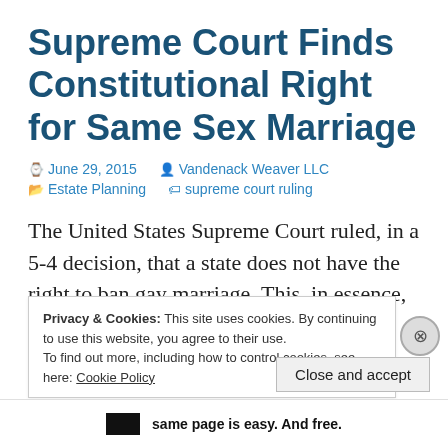Supreme Court Finds Constitutional Right for Same Sex Marriage
June 29, 2015   Vandenack Weaver LLC   Estate Planning   supreme court ruling
The United States Supreme Court ruled, in a 5-4 decision, that a state does not have the right to ban gay marriage. This, in essence, means that
Privacy & Cookies: This site uses cookies. By continuing to use this website, you agree to their use.
To find out more, including how to control cookies, see here: Cookie Policy
Close and accept
same page is easy. And free.